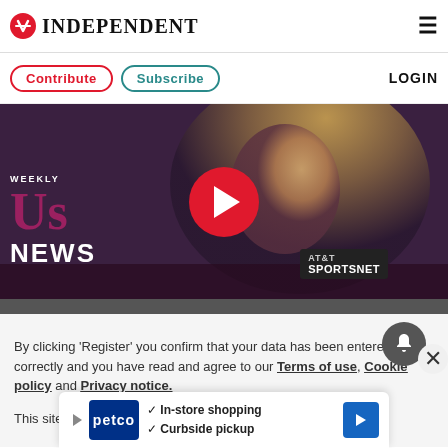INDEPENDENT
Contribute  Subscribe  LOGIN
[Figure (screenshot): Video thumbnail showing a blonde woman being interviewed with US Weekly News branding and AT&T SportsNet microphone, with a red play button overlay]
By clicking 'Register' you confirm that your data has been entered correctly and you have read and agree to our Terms of use, Cookie policy and Privacy notice.
This site is protected by reCAPTCHA and the Google Privacy
[Figure (infographic): Petco advertisement banner showing In-store shopping and Curbside pickup with checkmarks]